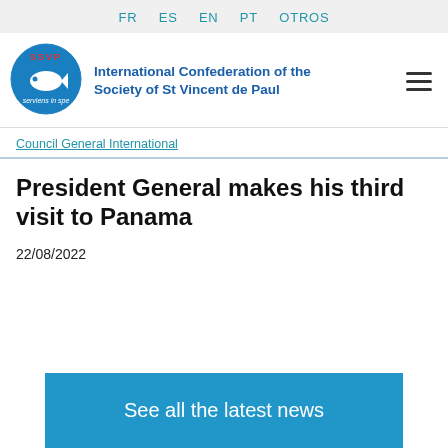FR  ES  EN  PT  OTROS
[Figure (logo): SSVP circular logo with fish symbol and text 'serviens in spe']
International Confederation of the Society of St Vincent de Paul
Council General International
President General makes his third visit to Panama
22/08/2022
See all the latest news